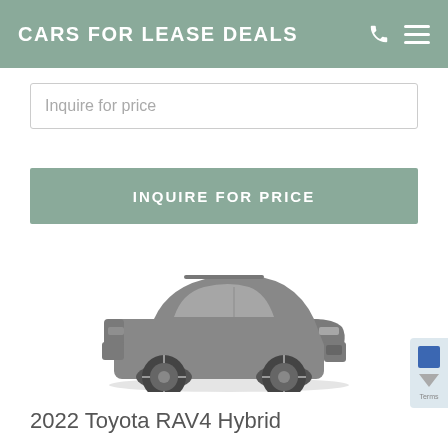CARS FOR LEASE DEALS
Inquire for price
INQUIRE FOR PRICE
[Figure (photo): Gray 2022 Toyota RAV4 Hybrid SUV shown in a side-front angle view against a white background]
2022 Toyota RAV4 Hybrid